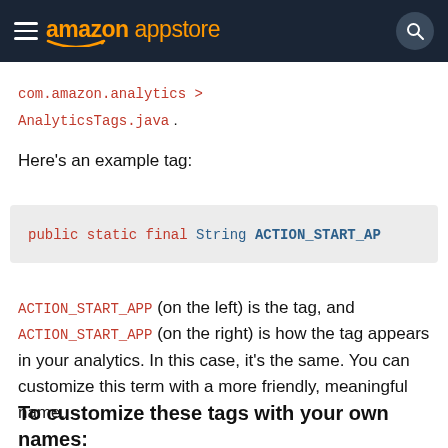amazon appstore
com.amazon.analytics > AnalyticsTags.java .
Here's an example tag:
public static final String ACTION_START_AP
ACTION_START_APP (on the left) is the tag, and ACTION_START_APP (on the right) is how the tag appears in your analytics. In this case, it's the same. You can customize this term with a more friendly, meaningful name.
To customize these tags with your own names: